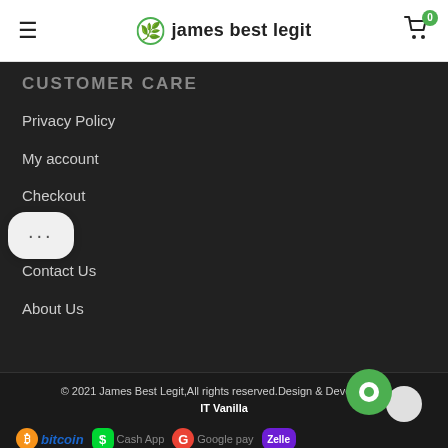james best legit
CUSTOMER CARE
Privacy Policy
My account
Checkout
Cart
Contact Us
About Us
© 2021 James Best Legit,All rights reserved.Design & Develop by - IT Vanilla